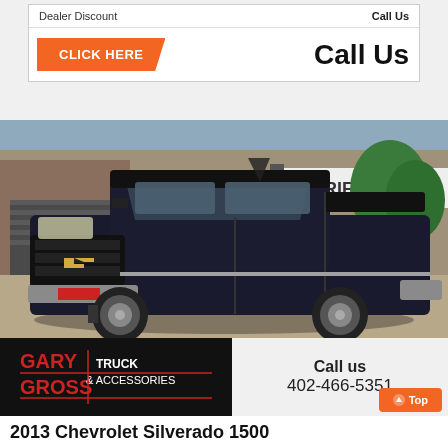| Dealer Discount | Call Us |
| --- | --- |
| CLICK HERE | Call Us |
[Figure (photo): Black Chevrolet Silverado 1500 pickup truck parked in front of a dealership building with brick facade and trees, front 3/4 view]
[Figure (logo): Gary Gross Truck & Accessories dealer logo on black background — Gary Gross in red/white lettering, Truck & Accessories in white]
Call us
402-466-5351
2013 Chevrolet Silverado 1500